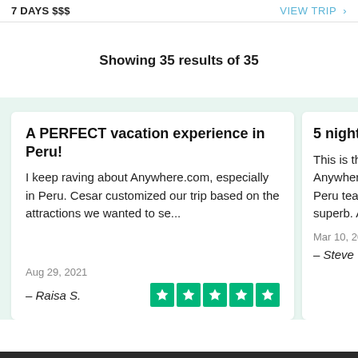7 DAYS $$$   VIEW TRIP >
Showing 35 results of 35
A PERFECT vacation experience in Peru!
I keep raving about Anywhere.com, especially in Peru. Cesar customized our trip based on the attractions we wanted to se...
Aug 29, 2021
– Raisa S.
5 night
This is th Anywher Peru tear superb. A
Mar 10, 202
– Steve